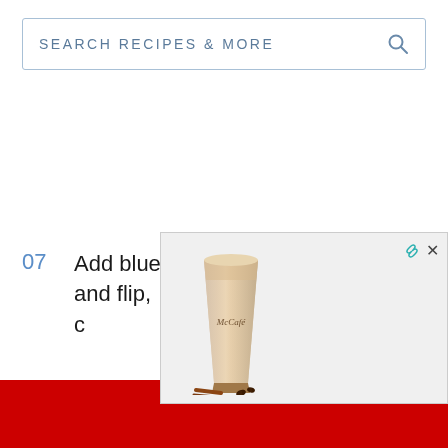[Figure (screenshot): Search bar with text 'SEARCH RECIPES & MORE' and a magnifying glass icon on the right, inside a light blue-bordered rectangle]
07  Add blueberries to each pancake and flip, c[ontinue cooking on the] othe[r side]
[Figure (photo): McCafe iced coffee advertisement overlay showing a tall glass of iced coffee with cinnamon sticks and coffee beans, with a close button (x) and link icon in the top right corner]